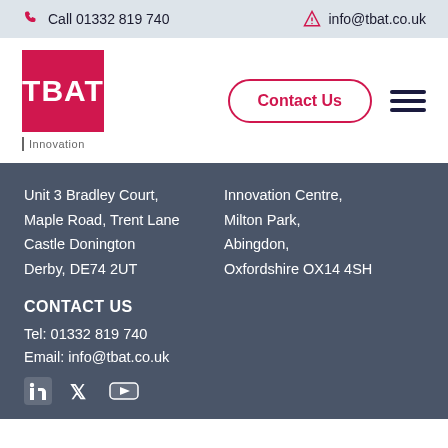Call 01332 819 740   info@tbat.co.uk
[Figure (logo): TBAT Innovation logo — red square with white TBAT text, with 'Innovation' text below]
Contact Us
Unit 3 Bradley Court,
Maple Road, Trent Lane
Castle Donington
Derby, DE74 2UT
Innovation Centre,
Milton Park,
Abingdon,
Oxfordshire OX14 4SH
CONTACT US
Tel: 01332 819 740
Email: info@tbat.co.uk
[Figure (other): Social media icons: LinkedIn, Twitter, YouTube]